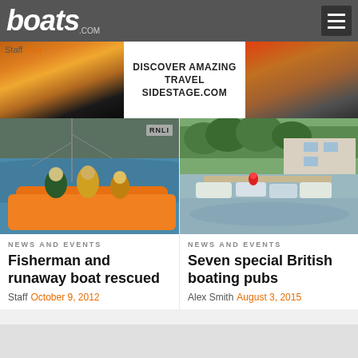boats.com
Staff  Jun
[Figure (screenshot): Advertisement banner: DISCOVER AMAZING TRAVEL SIDESTAGE.COM on white background, flanked by sunset/scenery photos]
[Figure (photo): RNLI lifeboat crew on orange inflatable rescue boat at sea, with RNLI badge in top right corner]
[Figure (photo): Arial view of marina with boats moored at dock, waterfront buildings in background]
NEWS AND EVENTS
Fisherman and runaway boat rescued
Staff  October 9, 2012
NEWS AND EVENTS
Seven special British boating pubs
Alex Smith  August 3, 2015